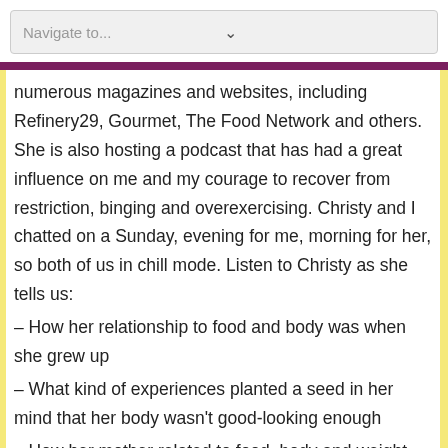Navigate to...
numerous magazines and websites, including Refinery29, Gourmet, The Food Network and others. She is also hosting a podcast that has had a great influence on me and my courage to recover from restriction, binging and overexercising. Christy and I chatted on a Sunday, evening for me, morning for her, so both of us in chill mode. Listen to Christy as she tells us:
– How her relationship to food and body was when she grew up
– What kind of experiences planted a seed in her mind that her body wasn't good-looking enough
– How her mother related to food, body and weight
– Why her more serious eating difficulties didn't start early in life, but only when she was in college